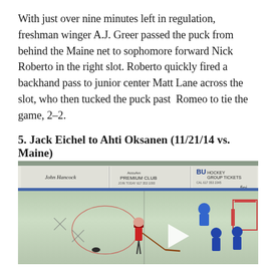With just over nine minutes left in regulation, freshman winger A.J. Greer passed the puck from behind the Maine net to sophomore forward Nick Roberto in the right slot. Roberto quickly fired a backhand pass to junior center Matt Lane across the slot, who then tucked the puck past Romeo to tie the game, 2–2.
5. Jack Eichel to Ahti Oksanen (11/21/14 vs. Maine)
[Figure (photo): Hockey game photo showing a rink scene with players in action near the goal. Boards in background show advertisements: John Hancock, AccuAm PREMIUM CLUB JOIN TODAY 617 353 1000, BU HOCKEY GROUP TICKETS. A play button triangle is visible in the center-right of the image indicating a video.]